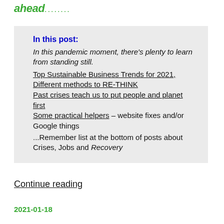ahead........
In this post:
In this pandemic moment, there’s plenty to learn from standing still.
Top Sustainable Business Trends for 2021,
Different methods to RE-THINK
Past crises teach us to put people and planet first
Some practical helpers – website fixes and/or Google things
...Remember list at the bottom of posts about Crises, Jobs and Recovery
Continue reading
2021-01-18